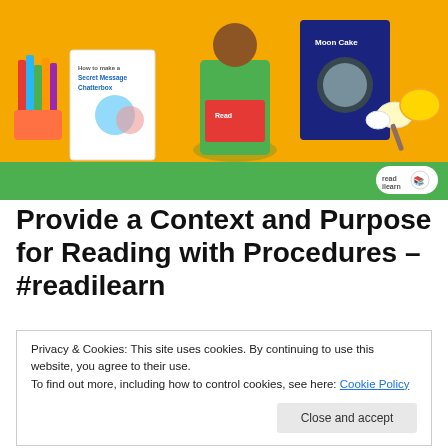[Figure (illustration): Colorful educational banner with yellow background and green bar at bottom. Shows illustrations of pencils in a cup, a book titled 'How to make a Secret Message Chatterbux', a child reading, a 'Moon Cake' book cover, baking ingredients (eggs, bowl), and a read-ilearn logo.]
Provide a Context and Purpose for Reading with Procedures – #readilearn
This post is a revisit of one of the first posts I published on readilearn almost six years ago in 2016. Since it was first
Privacy & Cookies: This site uses cookies. By continuing to use this website, you agree to their use.
To find out more, including how to control cookies, see here: Cookie Policy
June 10, 2022    💬 14 Replies